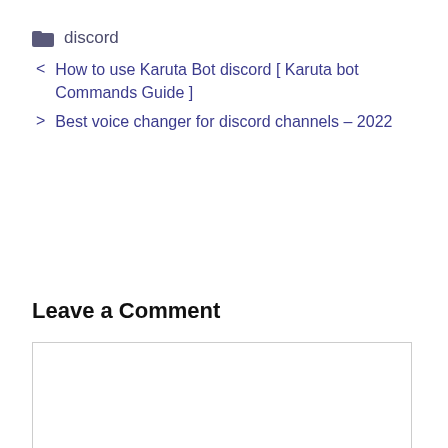discord
< How to use Karuta Bot discord [ Karuta bot Commands Guide ]
> Best voice changer for discord channels – 2022
Leave a Comment